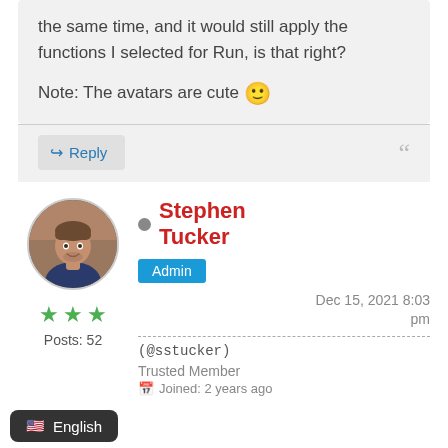the same time, and it would still apply the functions I selected for Run, is that right?

Note: The avatars are cute 🙂
Reply
[Figure (photo): Circular avatar photo of Stephen Tucker, a man in a dark sweater]
Stephen Tucker
Admin
Dec 15, 2021 8:03 pm
(@sstucker)
Trusted Member
Joined: 2 years ago
Posts: 52
English